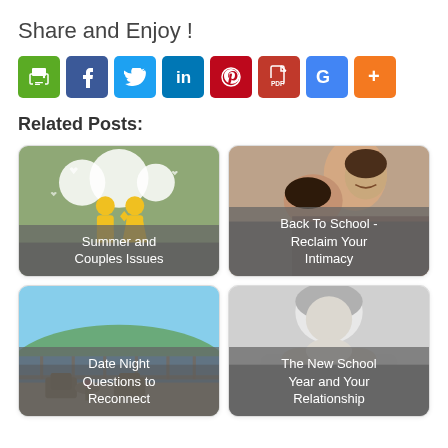Share and Enjoy !
[Figure (infographic): Row of social share buttons: print (green), Facebook (blue), Twitter (light blue), LinkedIn (blue), Pinterest (red), PDF (dark red), Google+ (blue), More (orange)]
Related Posts:
[Figure (illustration): Summer and Couples Issues - cartoon couple with hearts on green background]
[Figure (photo): Back To School - Reclaim Your Intimacy - couple smiling together]
[Figure (photo): Date Night Questions to Reconnect - outdoor terrace with chairs overlooking water]
[Figure (photo): The New School Year and Your Relationship - person resting head on hands, grayscale]